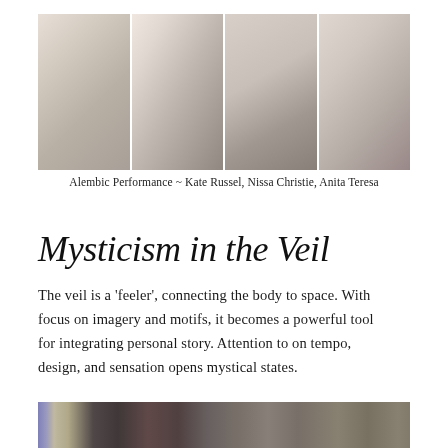[Figure (photo): A horizontal strip of four black-and-white / muted photographs showing performers with flowing white veils or fabric in a studio or warehouse setting. Alembic Performance with Kate Russel, Nissa Christie, and Anita Teresa.]
Alembic Performance ~ Kate Russel, Nissa Christie, Anita Teresa
Mysticism in the Veil
The veil is a ‘feeler’, connecting the body to space. With focus on imagery and motifs, it becomes a powerful tool for integrating personal story. Attention to on tempo, design, and sensation opens mystical states.
[Figure (photo): Partial bottom strip of photograph showing performers in a studio or warehouse space, partially cropped at the bottom of the page.]